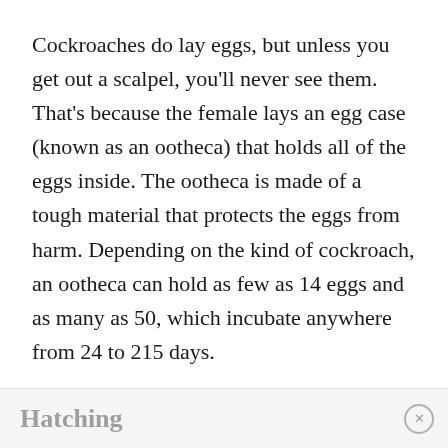Cockroaches do lay eggs, but unless you get out a scalpel, you'll never see them. That's because the female lays an egg case (known as an ootheca) that holds all of the eggs inside. The ootheca is made of a tough material that protects the eggs from harm. Depending on the kind of cockroach, an ootheca can hold as few as 14 eggs and as many as 50, which incubate anywhere from 24 to 215 days.
To download the "How-to-draw" sheet click here, or to see the step-by-step directions, click here.
Hatching